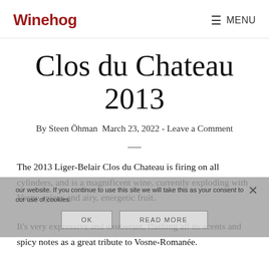Winehog   MENU
Clos du Chateau 2013
By Steen Öhman March 23, 2022 - Leave a Comment
—
The 2013 Liger-Belair Clos du Chateau is firing on all cylinders, and is a magnificent wine, currently exploding with Vosne spices and airy, energetic fruit.
It's very expressive and exuberant, flashing all its scents and spicy notes as a great tribute to Vosne-Romanée.